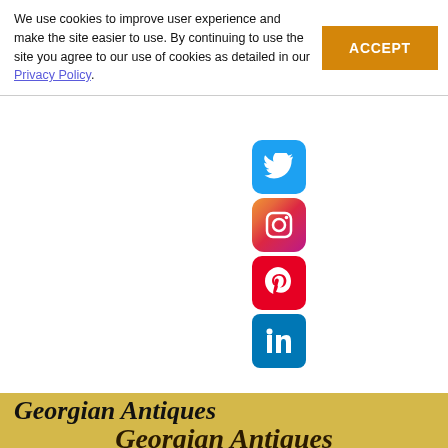We use cookies to improve user experience and make the site easier to use. By continuing to use the site you agree to our use of cookies as detailed in our Privacy Policy.
[Figure (other): Social media icons: Twitter (blue bird), Instagram (gradient camera), Pinterest (red P), LinkedIn (blue in)]
Georgian Antiques
ENQUIRE ABOUT THIS ANTIQUE
Georgian Antiques has 2980 antiques for sale. click here to see them all
Georgian Antiques